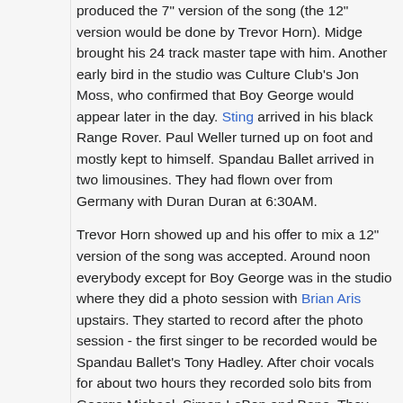produced the 7" version of the song (the 12" version would be done by Trevor Horn). Midge brought his 24 track master tape with him. Another early bird in the studio was Culture Club's Jon Moss, who confirmed that Boy George would appear later in the day. Sting arrived in his black Range Rover. Paul Weller turned up on foot and mostly kept to himself. Spandau Ballet arrived in two limousines. They had flown over from Germany with Duran Duran at 6:30AM.
Trevor Horn showed up and his offer to mix a 12" version of the song was accepted. Around noon everybody except for Boy George was in the studio where they did a photo session with Brian Aris upstairs. They started to record after the photo session - the first singer to be recorded would be Spandau Ballet's Tony Hadley. After choir vocals for about two hours they recorded solo bits from George Michael, Simon LeBon and Bono. They also sang a choir part together with Midge Ure. Francis Rossi did his small part, followed by Paul